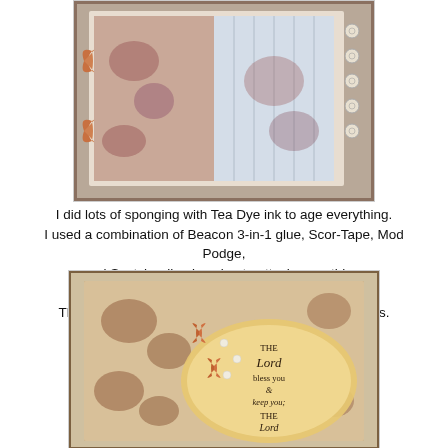[Figure (photo): Photo of a decorative craft box/tray with floral patterned paper, butterfly embellishments, and small button embellishments along the side.]
I did lots of sponging with Tea Dye ink to age everything.
I used a combination of Beacon 3-in-1 glue, Scor-Tape, Mod Podge,
and Scotch adhesive glue to attach everything.
And here are the cards!
They will be great for birthdays or thinking of you cards.
[Figure (photo): Photo of a handmade greeting card with floral embossed patterned paper, butterfly embellishments, pearls, and an oval stamped sentiment reading 'The Lord bless you & keep you; The Lord...']